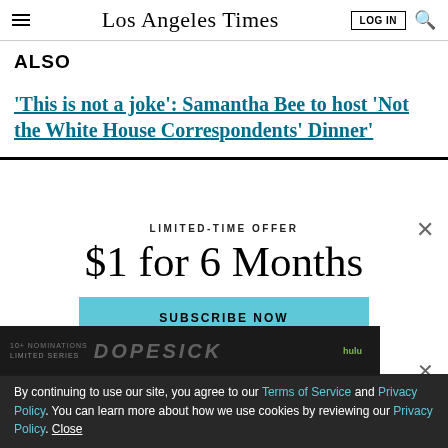Los Angeles Times
ALSO
'This is not a joke': Samantha Bee to host 'Not the White House Correspondents' Dinner'
LIMITED-TIME OFFER
$1 for 6 Months
SUBSCRIBE NOW
By continuing to use our site, you agree to our Terms of Service and Privacy Policy. You can learn more about how we use cookies by reviewing our Privacy Policy. Close